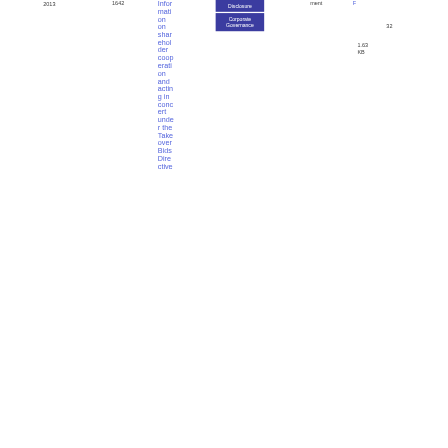2013
1642
Information shareholder cooperation and acting in concert under the Takeover Bids Directive
Disclosure
ment
Corporate Governance
F
32
1.63 KB